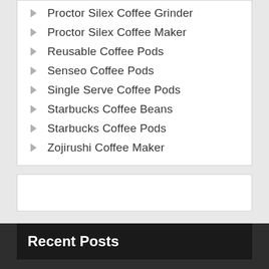Proctor Silex Coffee Grinder
Proctor Silex Coffee Maker
Reusable Coffee Pods
Senseo Coffee Pods
Single Serve Coffee Pods
Starbucks Coffee Beans
Starbucks Coffee Pods
Zojirushi Coffee Maker
Recent Posts
CAFFEINE MOLECULE Chemistry Coffee Tea Soda H... Jacket Tie Tack Lapel Pin